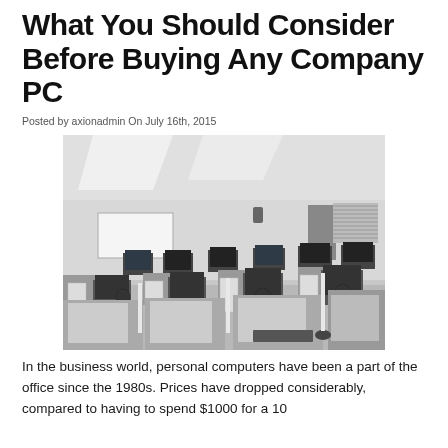What You Should Consider Before Buying Any Company PC
Posted by axionadmin On July 16th, 2015
[Figure (photo): Black and white photograph of a computer lab or office room filled with rows of desktop computers with monitors and tower PCs on desks, with a whiteboard on the wall in the background.]
In the business world, personal computers have been a part of the office since the 1980s. Prices have dropped considerably, compared to having to spend $1000 for a 10